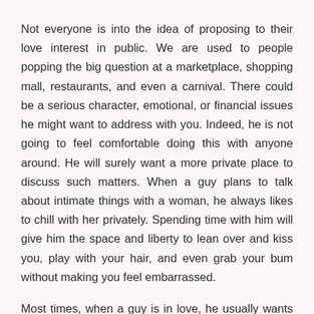Not everyone is into the idea of proposing to their love interest in public. We are used to people popping the big question at a marketplace, shopping mall, restaurants, and even a carnival. There could be a serious character, emotional, or financial issues he might want to address with you. Indeed, he is not going to feel comfortable doing this with anyone around. He will surely want a more private place to discuss such matters. When a guy plans to talk about intimate things with a woman, he always likes to chill with her privately. Spending time with him will give him the space and liberty to lean over and kiss you, play with your hair, and even grab your bum without making you feel embarrassed.
Most times, when a guy is in love, he usually wants to spend quality time with the other person